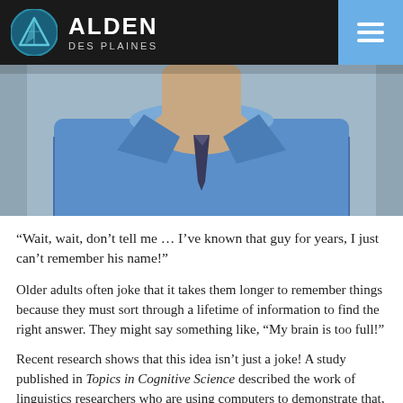ALDEN DES PLAINES
[Figure (photo): Headless photo of a man in a blue collared shirt and tie, cropped to show neck and chest area]
“Wait, wait, don’t tell me … I’ve known that guy for years, I just can’t remember his name!”
Older adults often joke that it takes them longer to remember things because they must sort through a lifetime of information to find the right answer. They might say something like, “My brain is too full!”
Recent research shows that this idea isn’t just a joke! A study published in Topics in Cognitive Science described the work of linguistics researchers who are using computers to demonstrate that, indeed, the “full brain” of seniors is the